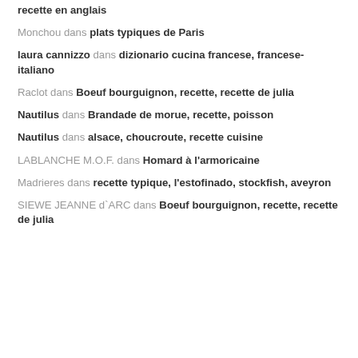recette en anglais
Monchou dans plats typiques de Paris
laura cannizzo dans dizionario cucina francese, francese-italiano
Raclot dans Boeuf bourguignon, recette, recette de julia
Nautilus dans Brandade de morue, recette, poisson
Nautilus dans alsace, choucroute, recette cuisine
LABLANCHE M.O.F. dans Homard à l'armoricaine
Madrieres dans recette typique, l'estofinado, stockfish, aveyron
SIEWE JEANNE d`ARC dans Boeuf bourguignon, recette, recette de julia